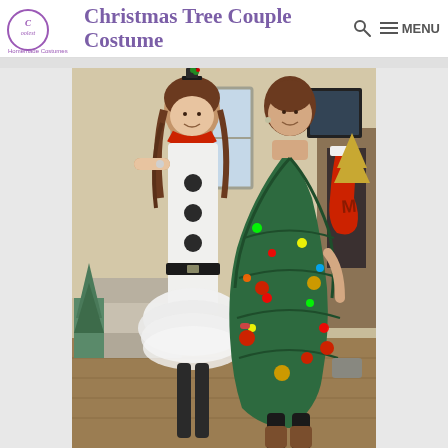Christmas Tree Couple Costume
[Figure (photo): Two women posing indoors in Christmas costumes. The woman on the left is dressed as a snowman with a white outfit, red scarf, black buttons, a black belt, a white tulle skirt, dark tights, and a small top hat with holly. The woman on the right is dressed as a Christmas tree with a green pine-branch-style dress adorned with colorful lights and ornaments, black leggings, and brown boots. They are standing in front of a fireplace with a Christmas stocking visible on the right.]